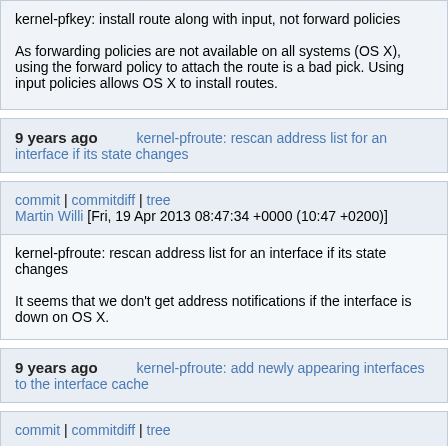kernel-pfkey: install route along with input, not forward policies

As forwarding policies are not available on all systems (OS X), using the forward policy to attach the route is a bad pick. Using input policies allows OS X to install routes.
9 years ago   kernel-pfroute: rescan address list for an interface if its state changes
commit | commitdiff | tree
Martin Willi [Fri, 19 Apr 2013 08:47:34 +0000 (10:47 +0200)]
kernel-pfroute: rescan address list for an interface if its state changes

It seems that we don't get address notifications if the interface is down on OS X.
9 years ago   kernel-pfroute: add newly appearing interfaces to the interface cache
commit | commitdiff | tree